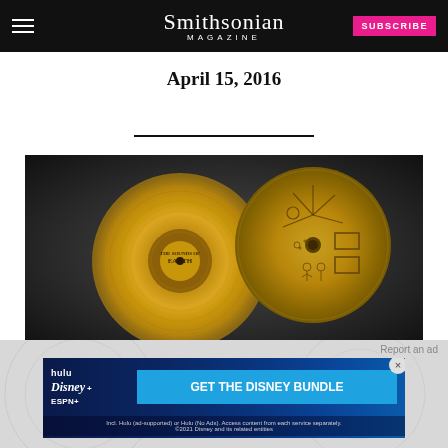Smithsonian MAGAZINE | SUBSCRIBE
April 15, 2016
[Figure (photo): Two gold Voyager phonograph records — one showing the grooved record face (gold vinyl), the other showing the engraved cover with pictographic instructions — photographed against a dark gray gradient background.]
Report an ad
[Figure (other): Disney Bundle advertisement banner featuring Hulu, Disney+, and ESPN+ logos with 'GET THE DISNEY BUNDLE' call to action button. Fine print: Incl. Hulu (ad-supported) or Hulu (No Ads). Access content from each service separately. ©2021 Disney and its related entities]